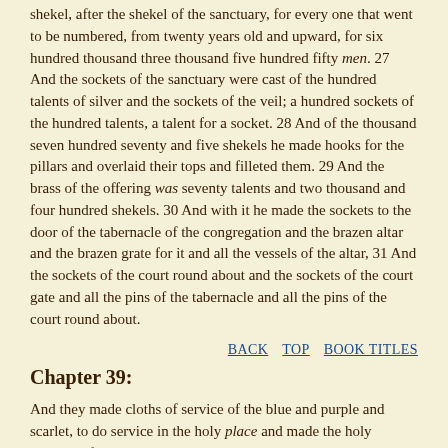shekel, after the shekel of the sanctuary, for every one that went to be numbered, from twenty years old and upward, for six hundred thousand three thousand five hundred fifty men. 27 And the sockets of the sanctuary were cast of the hundred talents of silver and the sockets of the veil; a hundred sockets of the hundred talents, a talent for a socket. 28 And of the thousand seven hundred seventy and five shekels he made hooks for the pillars and overlaid their tops and filleted them. 29 And the brass of the offering was seventy talents and two thousand and four hundred shekels. 30 And with it he made the sockets to the door of the tabernacle of the congregation and the brazen altar and the brazen grate for it and all the vessels of the altar, 31 And the sockets of the court round about and the sockets of the court gate and all the pins of the tabernacle and all the pins of the court round about.
BACK   TOP   BOOK TITLES
Chapter 39:
And they made cloths of service of the blue and purple and scarlet, to do service in the holy place and made the holy garments for Aaron; as The